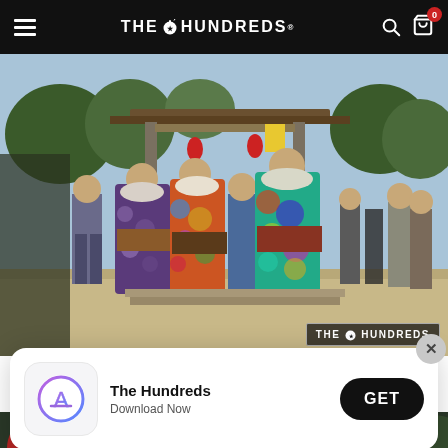THE HUNDREDS — navigation bar with hamburger menu, logo, search and cart icons
[Figure (photo): People wearing colorful traditional Japanese kimono viewed from behind at a shrine gate, with trees and blue sky visible. The Hundreds watermark logo in lower right corner.]
[Figure (screenshot): App download popup with App Store icon, 'The Hundreds' app name, 'Download Now' subtitle, and 'GET' button. Close X button in top right.]
[Figure (photo): Partial view of bottom image strip showing red umbrella and green foliage.]